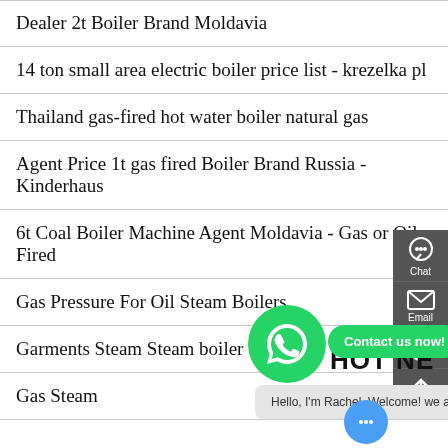Dealer 2t Boiler Brand Moldavia
14 ton small area electric boiler price list - krezelka pl
Thailand gas-fired hot water boiler natural gas
Agent Price 1t gas fired Boiler Brand Russia - Kinderhaus Chat
6t Coal Boiler Machine Agent Moldavia - Gas or Oil Fired
Gas Pressure For Oil Steam Boilers
Garments Steam Steam boiler
Gas Steam
[Figure (screenshot): WhatsApp contact bubble with green circle icon and 'Contact us now!' badge, plus chat popup saying 'Hello, I'm Rachel, Welcome! we are boiler factory!' and a blue chat button with ellipsis icon. Right sidebar with Chat, Email, and Contact icons.]